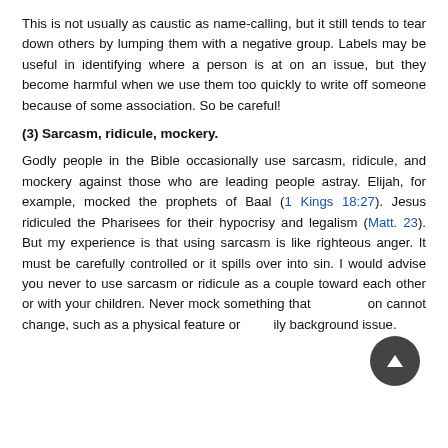This is not usually as caustic as name-calling, but it still tends to tear down others by lumping them with a negative group. Labels may be useful in identifying where a person is at on an issue, but they become harmful when we use them too quickly to write off someone because of some association. So be careful!
(3) Sarcasm, ridicule, mockery.
Godly people in the Bible occasionally use sarcasm, ridicule, and mockery against those who are leading people astray. Elijah, for example, mocked the prophets of Baal (1 Kings 18:27). Jesus ridiculed the Pharisees for their hypocrisy and legalism (Matt. 23). But my experience is that using sarcasm is like righteous anger. It must be carefully controlled or it spills over into sin. I would advise you never to use sarcasm or ridicule as a couple toward each other or with your children. Never mock something that a person cannot change, such as a physical feature or family background issue.